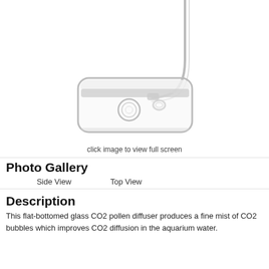[Figure (photo): Glass CO2 pollen diffuser product photo showing a flat-bottomed glass chamber with a bent tube extending upward, on white background.]
click image to view full screen
Photo Gallery
Side View    Top View
Description
This flat-bottomed glass CO2 pollen diffuser produces a fine mist of CO2 bubbles which improves CO2 diffusion in the aquarium water.